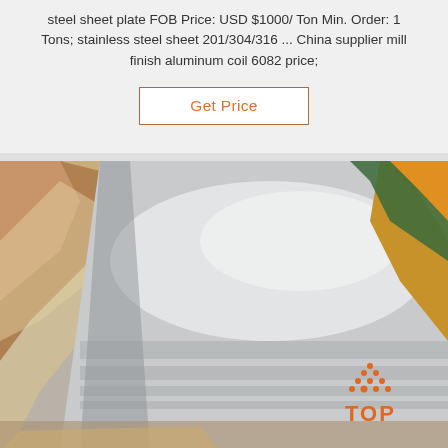steel sheet plate FOB Price: USD $1000/ Ton Min. Order: 1 Tons; stainless steel sheet 201/304/316 ... China supplier mill finish aluminum coil 6082 price;
[Figure (other): Button labeled 'Get Price' with orange text and border on white background]
[Figure (photo): Photo of a shiny aluminum or stainless steel sheet plate, partially wrapped in plastic/cardboard packaging. A watermark logo reading 'TOP' with an orange dot/triangle pattern appears in the lower right.]